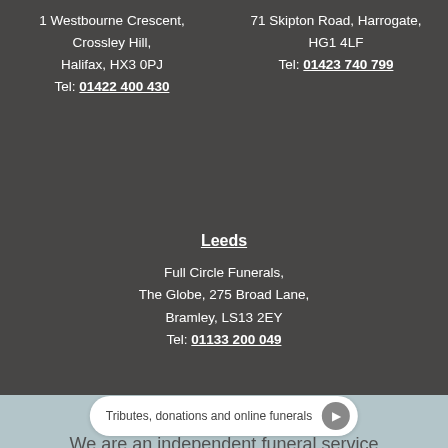1 Westbourne Crescent, Crossley Hill, Halifax, HX3 0PJ
Tel: 01422 400 430
Full Circle Funerals, 71 Skipton Road, Harrogate, HG1 4LF
Tel: 01423 740 799
Leeds
Full Circle Funerals,
The Globe, 275 Broad Lane,
Bramley, LS13 2EY
Tel: 01133 200 049
Tributes, donations and online funerals
We are an independent funeral service that believes that a funeral director should be completely flexible to enable people to choose a funeral that truly